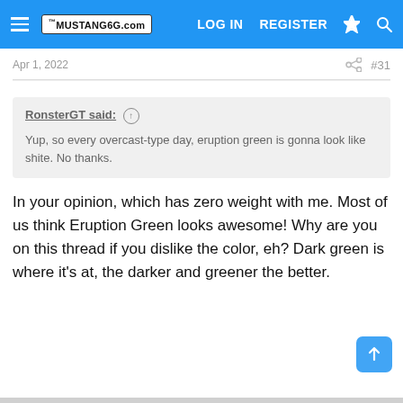Mustang6G.com — LOG IN  REGISTER
Apr 1, 2022  #31
RonsterGT said: ↑

Yup, so every overcast-type day, eruption green is gonna look like shite. No thanks.
In your opinion, which has zero weight with me. Most of us think Eruption Green looks awesome! Why are you on this thread if you dislike the color, eh? Dark green is where it's at, the darker and greener the better.